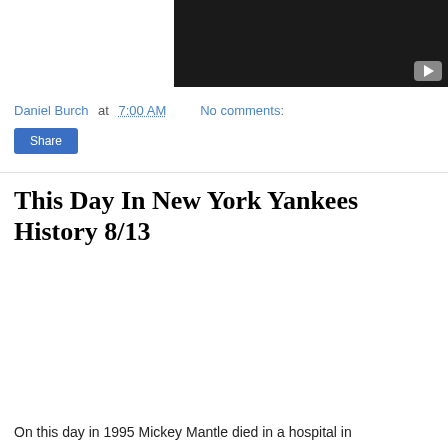[Figure (screenshot): Dark/black video player thumbnail with a grey play button in the bottom-right corner]
Daniel Burch at 7:00 AM    No comments:
Share
This Day In New York Yankees History 8/13
On this day in 1995 Mickey Mantle died in a hospital in